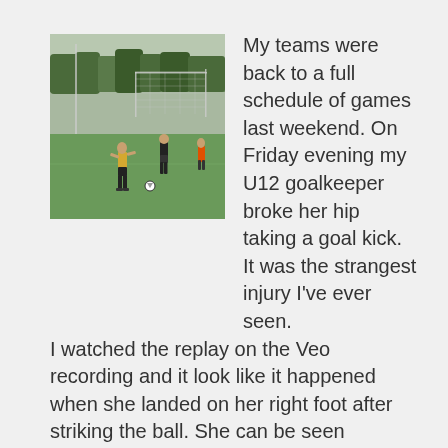[Figure (photo): A youth soccer field with a goalkeeper and a player on a green grass pitch, with a goal net visible in the background and trees behind.]
My teams were back to a full schedule of games last weekend. On Friday evening my U12 goalkeeper broke her hip taking a goal kick. It was the strangest injury I've ever seen. I watched the replay on the Veo recording and it look like it happened when she landed on her right foot after striking the ball. She can be seen collapsing after landing. She's going to be out six to eight weeks which pretty much ends the outdoor season for her. I go through a … [Read more...]